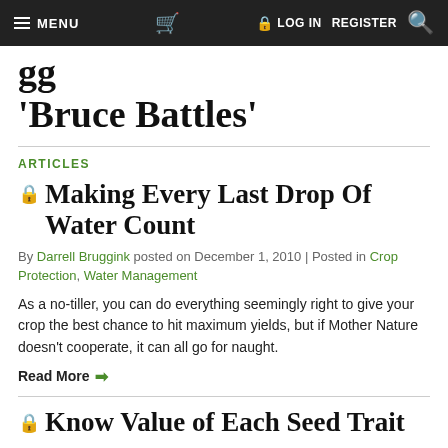≡ MENU  🛒  🔒 LOG IN  REGISTER  🔍
'Bruce Battles'
ARTICLES
🔒 Making Every Last Drop Of Water Count
By Darrell Bruggink posted on December 1, 2010 | Posted in Crop Protection, Water Management
As a no-tiller, you can do everything seemingly right to give your crop the best chance to hit maximum yields, but if Mother Nature doesn't cooperate, it can all go for naught.
Read More →
🔒 Know Value of Each Seed Trait